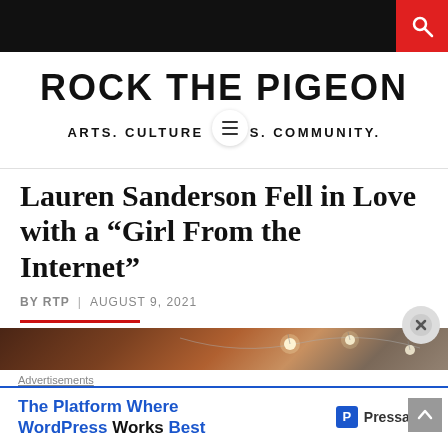Rock The Pigeon — Arts. Culture News. Community.
Lauren Sanderson Fell in Love with a “Girl From the Internet”
BY RTP | AUGUST 9, 2021
[Figure (photo): Dark atmospheric photo with string lights in background]
Advertisements — The Platform Where WordPress Works Best — Pressable